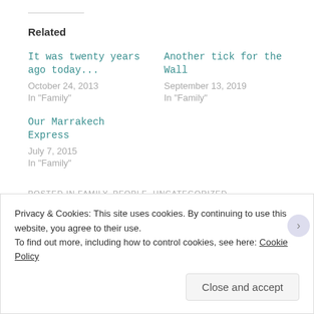Related
It was twenty years ago today...
October 24, 2013
In "Family"
Another tick for the Wall
September 13, 2019
In "Family"
Our Marrakech Express
July 7, 2015
In "Family"
POSTED IN FAMILY, PEOPLE, UNCATEGORIZED
Privacy & Cookies: This site uses cookies. By continuing to use this website, you agree to their use.
To find out more, including how to control cookies, see here: Cookie Policy
[Close and accept]